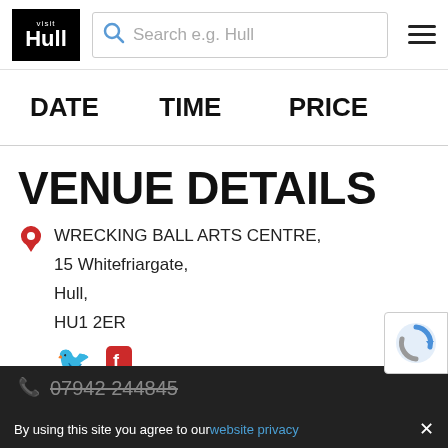[Figure (logo): Visit Hull logo — black box with 'visit' in small white text above 'Hull' in large bold white text]
Search e.g. Hull
DATE	TIME	PRICE
VENUE DETAILS
WRECKING BALL ARTS CENTRE, 15 Whitefriargate, Hull, HU1 2ER
07942 244845
By using this site you agree to our website privacy